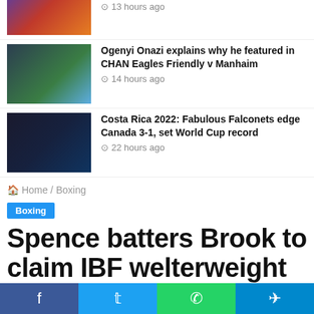[Figure (photo): Partial sports photo at top (cropped)]
13 hours ago
[Figure (photo): Ogenyi Onazi player portrait in green jersey]
Ogenyi Onazi explains why he featured in CHAN Eagles Friendly v Manhaim
14 hours ago
[Figure (photo): Nigerian players celebrating on pitch]
Costa Rica 2022: Fabulous Falconets edge Canada 3-1, set World Cup record
22 hours ago
Home / Boxing
Boxing
Spence batters Brook to claim IBF welterweight title
ajike · May 28, 2017 · 0 · 6 · 1 minute read